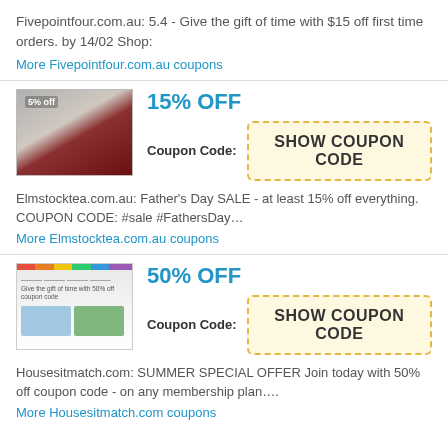Fivepointfour.com.au: 5.4 - Give the gift of time with $15 off first time orders. by 14/02 Shop:
More Fivepointfour.com.au coupons
15% OFF
Coupon Code: SHOW COUPON CODE
[Figure (photo): Product image for Elmstocktea.com.au with red background]
Elmstocktea.com.au: Father's Day SALE - at least 15% off everything. COUPON CODE: #sale #FathersDay…
More Elmstocktea.com.au coupons
50% OFF
Coupon Code: SHOW COUPON CODE
[Figure (screenshot): Screenshot of Housesitmatch.com website]
Housesitmatch.com: SUMMER SPECIAL OFFER Join today with 50% off coupon code - on any membership plan….
More Housesitmatch.com coupons